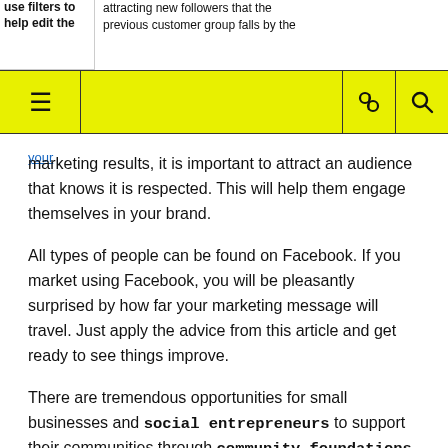use filters to help edit the
attracting new followers that the previous customer group falls by the
≡  [navigation bar with icons]
marketing results, it is important to attract an audience that knows it is respected. This will help them engage themselves in your brand.
All types of people can be found on Facebook. If you market using Facebook, you will be pleasantly surprised by how far your marketing message will travel. Just apply the advice from this article and get ready to see things improve.
There are tremendous opportunities for small businesses and social entrepreneurs to support their communities through community foundations, donor advised funds and other means of giving back. Find the neighborhoods in Rhode Island where you can make the most impact on arts in the community.